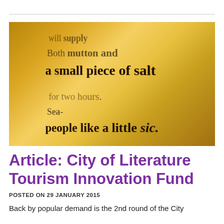[Figure (photo): Close-up photo of an old book page with text reading 'will supply', 'Both mutton and', 'a small piece of salt', 'for two hours. Sea-', 'people like a little sic.' on a yellow-toned page with blur/depth of field effect.]
Article: City of Literature Tourism Innovation Fund
POSTED ON 29 JANUARY 2015
Back by popular demand is the 2nd round of the City